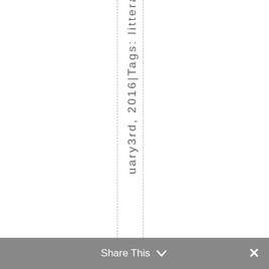uary3rd, 2016|Tags: littera
Share This ∨  ×